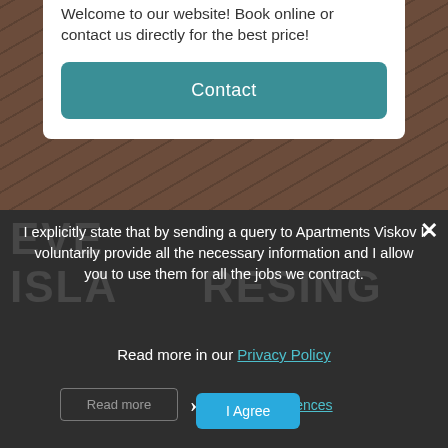Welcome to our website! Book online or contact us directly for the best price!
Contact
I explicitly state that by sending a query to Apartments Viskov I voluntarily provide all the necessary information and I allow you to use them for all the jobs we contract.
Read more in our Privacy Policy
Privacy Preferences
Read more
I Agree